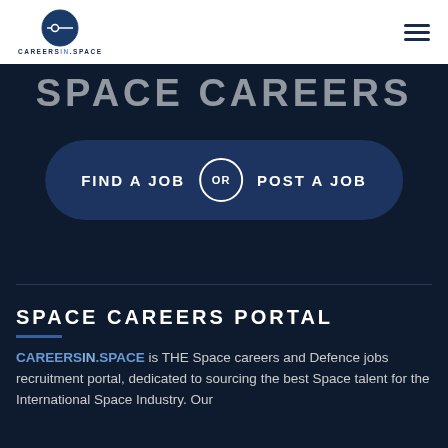CAREERSIN.SPACE (logo and navigation)
SPACE CAREERS
FIND A JOB OR POST A JOB
SPACE CAREERS PORTAL
CAREERSIN.SPACE is THE Space careers and Defence jobs recruitment portal, dedicated to sourcing the best Space talent for the International Space Industry. Our